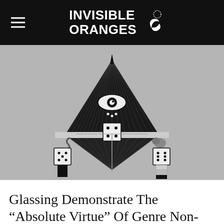INVISIBLE ORANGES
[Figure (illustration): Black and white occult illustration on grey background: a diamond/rhombus shape with an all-seeing eye at top and crosshairs in the center, with dice figures at lower left and right corners and decorative elements, rendered in detailed pen-and-ink style.]
Glassing Demonstrate The “Absolute Virtue” Of Genre Non-